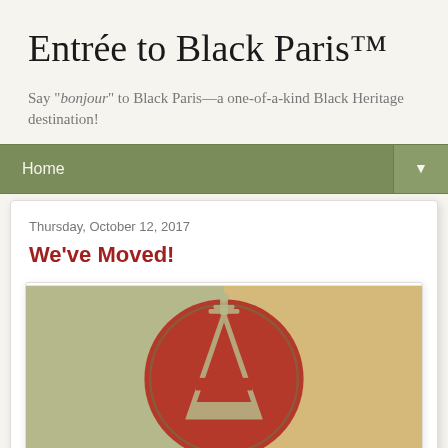Entrée to Black Paris™
Say "bonjour" to Black Paris—a one-of-a-kind Black Heritage destination!
Home ▼
Thursday, October 12, 2017
We've Moved!
[Figure (logo): Logo with stylized letter A with Eiffel Tower top inside a dark red circle on a split olive-green and tan background]